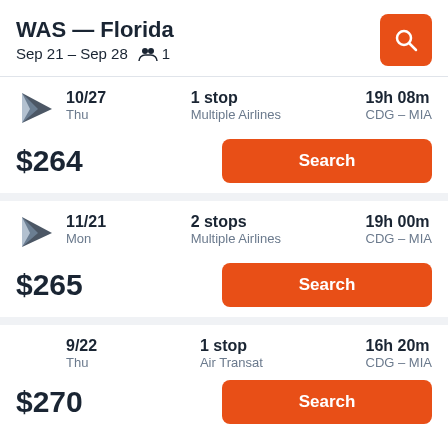WAS — Florida
Sep 21 – Sep 28    👥 1
10/27
Thu
1 stop
Multiple Airlines
19h 08m
CDG – MIA
$264
Search
11/21
Mon
2 stops
Multiple Airlines
19h 00m
CDG – MIA
$265
Search
9/22
Thu
1 stop
Air Transat
16h 20m
CDG – MIA
$270
Search